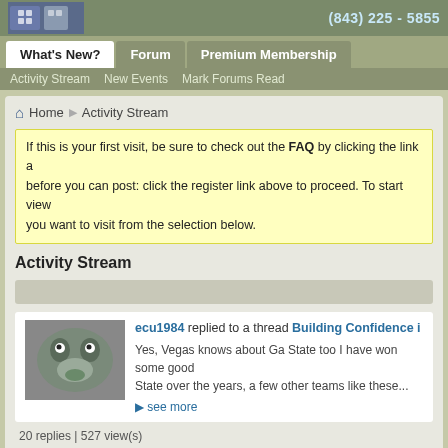(843) 225 - 5855
What's New? | Forum | Premium Membership
Activity Stream | New Events | Mark Forums Read
Home > Activity Stream
If this is your first visit, be sure to check out the FAQ by clicking the link a... before you can post: click the register link above to proceed. To start view... you want to visit from the selection below.
Activity Stream
ecu1984 replied to a thread Building Confidence in... Yes, Vegas knows about Ga State too I have won some good money on Ga State over the years, a few other teams like these...
see more
20 replies | 527 view(s)
Pcole replied to a thread Building Confidence in S... I could care less about any of those teams. I'm not a Clemson... enormous ass of yourself every college football...